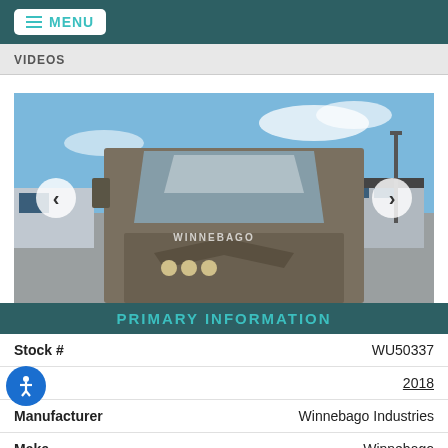MENU
VIDEOS
[Figure (photo): Front view of a Winnebago motorhome RV in a dealership lot with blue sky background, navigation arrows on left and right sides]
PRIMARY INFORMATION
| Field | Value |
| --- | --- |
| Stock # | WU50337 |
| Year | 2018 |
| Manufacturer | Winnebago Industries |
| Make | Winnebago |